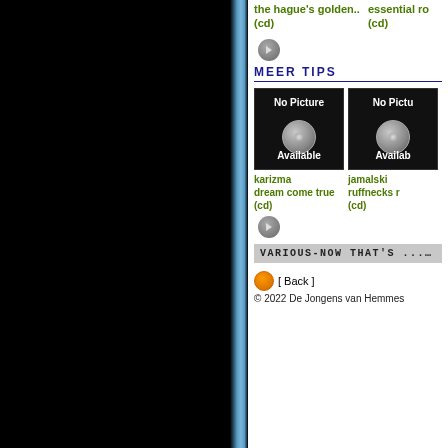the hague's golden.. (cd)
essential ro (cd)
MEER TIPS
[Figure (photo): No Picture Available placeholder image for karizma dream come true (cd)]
karizma dream come true (cd)
[Figure (photo): No Picture Available placeholder image for jamalski ruffnecks r (cd)]
jamalski ruffnecks r (cd)
VARIOUS-NOW THAT'S ... IBIZA
[ Back ]
© 2022 De Jongens van Hemmes